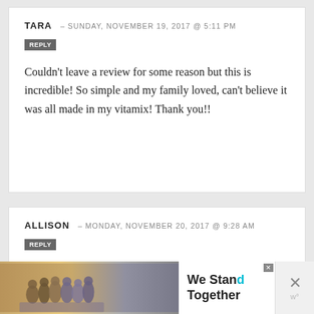TARA — SUNDAY, NOVEMBER 19, 2017 @ 5:11 PM
REPLY
Couldn't leave a review for some reason but this is incredible! So simple and my family loved, can't believe it was all made in my vitamix! Thank you!!
ALLISON — MONDAY, NOVEMBER 20, 2017 @ 9:28 AM
REPLY
Do you think this mix would work in a (sorry)
[Figure (photo): Advertisement banner showing silhouettes of people with arms around each other and text 'We Stand Together' with close buttons]